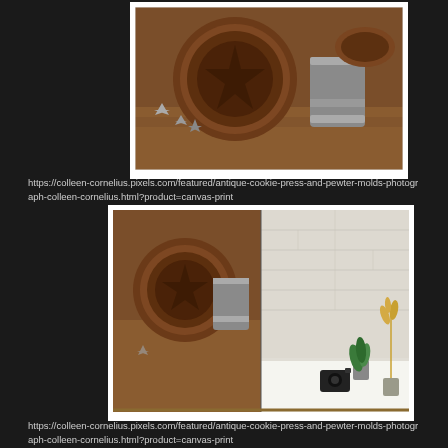[Figure (photo): Close-up photograph of antique wooden cookie press and pewter molds on a wooden surface, showing a round wooden bowl with star/compass design and metallic molds with star shapes scattered around]
https://colleen-cornelius.pixels.com/featured/antique-cookie-press-and-pewter-molds-photograph-colleen-cornelius.html?product=canvas-print
[Figure (photo): Canvas print mockup showing the antique cookie press and pewter molds photograph displayed on a white brick wall, with a small camera, green plant, and dried flowers on a white surface below it]
https://colleen-cornelius.pixels.com/featured/antique-cookie-press-and-pewter-molds-photograph-colleen-cornelius.html?product=canvas-print